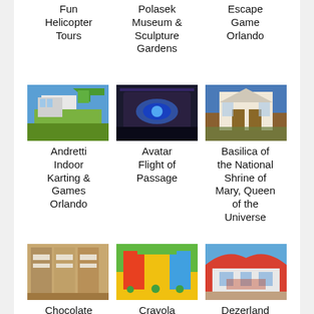Fun Helicopter Tours
Polasek Museum & Sculpture Gardens
Escape Game Orlando
[Figure (photo): Exterior of Andretti Indoor Karting & Games Orlando building with green logo]
[Figure (photo): Interior of Avatar Flight of Passage attraction with blue lighting]
[Figure (photo): Exterior of Basilica of the National Shrine of Mary, Queen of the Universe at dusk]
Andretti Indoor Karting & Games Orlando
Avatar Flight of Passage
Basilica of the National Shrine of Mary, Queen of the Universe
[Figure (photo): Interior of Chocolate Kingdom - Factory Adventure with brown packaging]
[Figure (photo): Exterior of Crayola Experience Orlando with bright yellow and green colors]
[Figure (photo): Exterior of Dezerland Park Orlando with colorful red arch]
Chocolate Kingdom - Factory Adventure
Crayola Experience Orlando
Dezerland Park Orlando